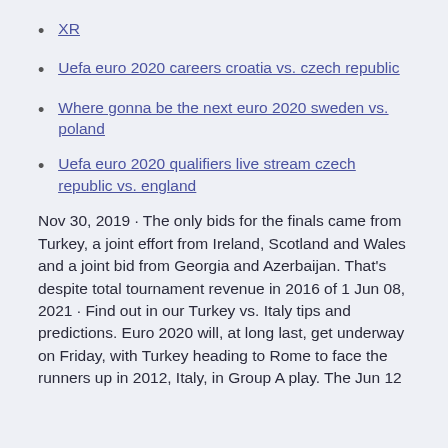XR
Uefa euro 2020 careers croatia vs. czech republic
Where gonna be the next euro 2020 sweden vs. poland
Uefa euro 2020 qualifiers live stream czech republic vs. england
Nov 30, 2019 · The only bids for the finals came from Turkey, a joint effort from Ireland, Scotland and Wales and a joint bid from Georgia and Azerbaijan. That's despite total tournament revenue in 2016 of 1 Jun 08, 2021 · Find out in our Turkey vs. Italy tips and predictions. Euro 2020 will, at long last, get underway on Friday, with Turkey heading to Rome to face the runners up in 2012, Italy, in Group A play. The Jun 12